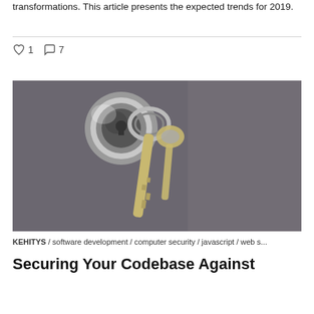transformations. This article presents the expected trends for 2019.
♡ 1  ◯ 7
[Figure (photo): Close-up photograph of keys on a keyring inserted into a lock/keyhole, on a dark gray background.]
KEHITYS / software development / computer security / javascript / web s...
Securing Your Codebase Against